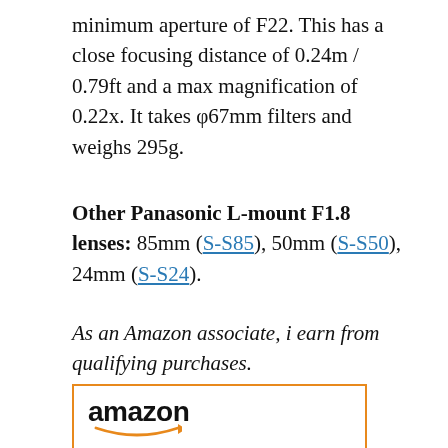minimum aperture of F22. This has a close focusing distance of 0.24m / 0.79ft and a max magnification of 0.22x. It takes φ67mm filters and weighs 295g.
Other Panasonic L-mount F1.8 lenses: 85mm (S-S85), 50mm (S-S50), 24mm (S-S24).
As an Amazon associate, i earn from qualifying purchases.
[Figure (other): Amazon product box with amazon logo and image of a Panasonic camera lens (black, mirrorless lens)]